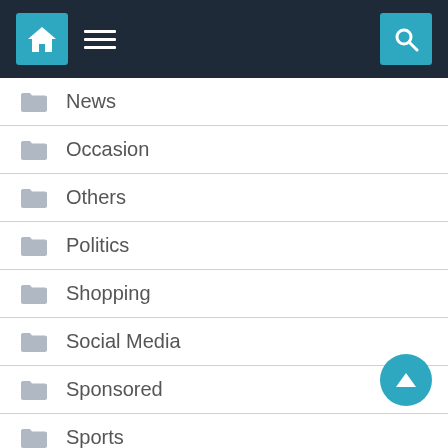Navigation bar with home, menu, and search icons
News
Occasion
Others
Politics
Shopping
Social Media
Sponsored
Sports
Tech
Travel